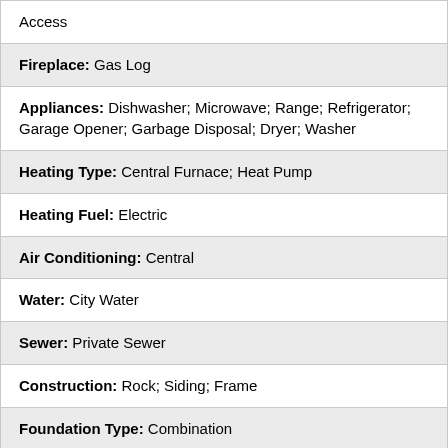| Access |
| Fireplace: Gas Log |
| Appliances: Dishwasher; Microwave; Range; Refrigerator; Garage Opener; Garbage Disposal; Dryer; Washer |
| Heating Type: Central Furnace; Heat Pump |
| Heating Fuel: Electric |
| Air Conditioning: Central |
| Water: City Water |
| Sewer: Private Sewer |
| Construction: Rock; Siding; Frame |
| Foundation Type: Combination |
| Exterior Features: Irrigation System; Boat Dock; Community Dock |